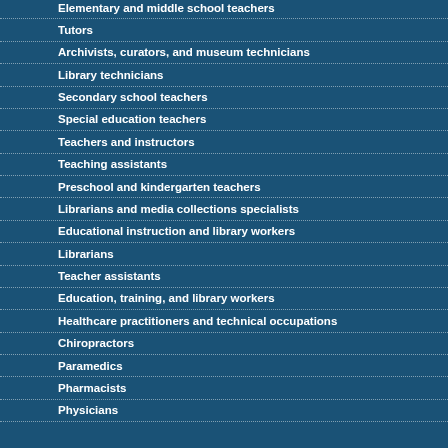Elementary and middle school teachers
Tutors
Archivists, curators, and museum technicians
Library technicians
Secondary school teachers
Special education teachers
Teachers and instructors
Teaching assistants
Preschool and kindergarten teachers
Librarians and media collections specialists
Educational instruction and library workers
Librarians
Teacher assistants
Education, training, and library workers
Healthcare practitioners and technical occupations
Chiropractors
Paramedics
Pharmacists
Physicians